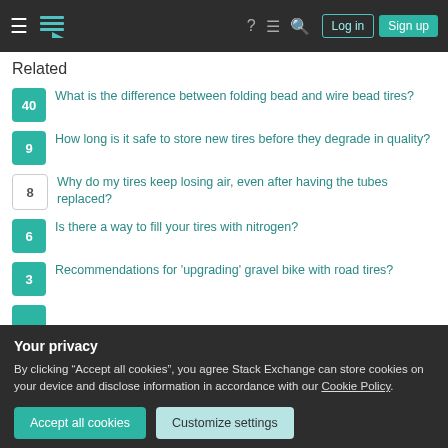Stack Exchange navigation bar with Log in and Sign up buttons
Related
40 — What is the difference between folding bead and wire bead tires?
9 — How long is it safe to store new tires before they degrade in quality?
8 — Why do my tires keep losing air, even after having the tubes replaced?
6 — Is there a way to fill your tires with nitrogen?
3 — Recommendations for 'upgrading' gravel bike with road tires?
Your privacy
By clicking "Accept all cookies", you agree Stack Exchange can store cookies on your device and disclose information in accordance with our Cookie Policy.
Accept all cookies | Customize settings
Hot Network Questions